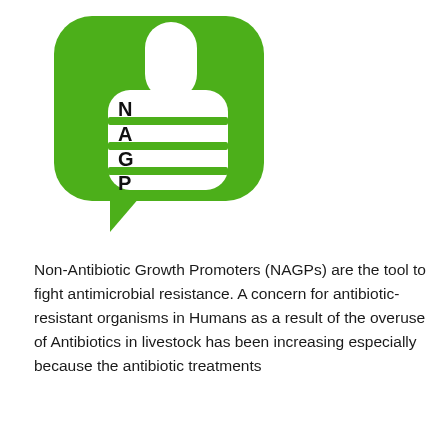[Figure (logo): NAGP logo: a green rounded speech-bubble shape containing a white thumbs-up hand with the letters N, A, G, P written vertically on the fingers/knuckles area, each letter aligned with horizontal green stripes across the fist.]
Non-Antibiotic Growth Promoters (NAGPs) are the tool to fight antimicrobial resistance. A concern for antibiotic-resistant organisms in Humans as a result of the overuse of Antibiotics in livestock has been increasing especially because the antibiotic treatments